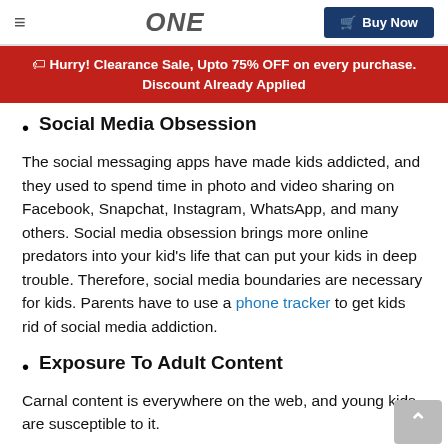≡  ONE  Buy Now
🏷 Hurry! Clearance Sale, Upto 75% OFF on every purchase. Discount Already Applied
Social Media Obsession
The social messaging apps have made kids addicted, and they used to spend time in photo and video sharing on Facebook, Snapchat, Instagram, WhatsApp, and many others. Social media obsession brings more online predators into your kid's life that can put your kids in deep trouble. Therefore, social media boundaries are necessary for kids. Parents have to use a phone tracker to get kids rid of social media addiction.
Exposure To Adult Content
Carnal content is everywhere on the web, and young kids are susceptible to it.